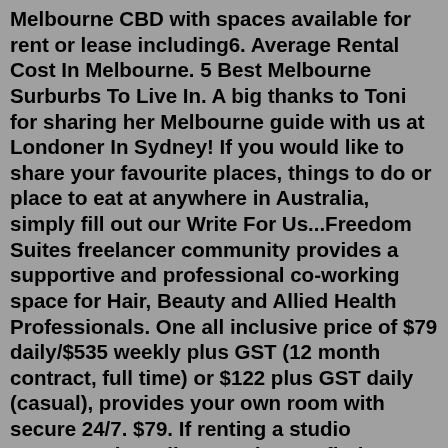Melbourne CBD with spaces available for rent or lease including6. Average Rental Cost In Melbourne. 5 Best Melbourne Surburbs To Live In. A big thanks to Toni for sharing her Melbourne guide with us at Londoner In Sydney! If you would like to share your favourite places, things to do or place to eat at anywhere in Australia, simply fill out our Write For Us...Freedom Suites freelancer community provides a supportive and professional co-working space for Hair, Beauty and Allied Health Professionals. One all inclusive price of $79 daily/$535 weekly plus GST (12 month contract, full time) or $122 plus GST daily (casual), provides your own room with secure 24/7. $79. If renting a studio apartment in Melbourne doesn't fit the dream, search for houses for rent with realestateVIEW.com.au and start down the road to finding your perfect home in Melbourne. Search by suburb and apply filters to find that ideal property, and then get in touch with the local agent for a...Melbourne has about 5 million inhabitants, which